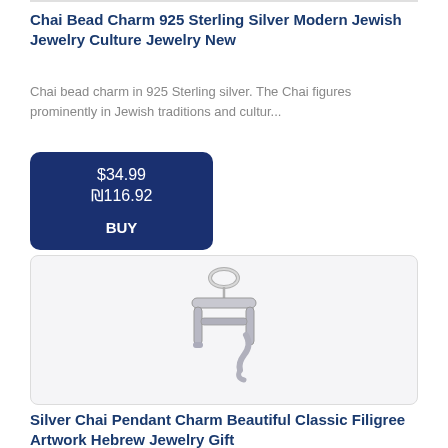Chai Bead Charm 925 Sterling Silver Modern Jewish Jewelry Culture Jewelry New
Chai bead charm in 925 Sterling silver. The Chai figures prominently in Jewish traditions and cultur...
$34.99
₪116.92
BUY
[Figure (photo): A silver Chai Hebrew letter pendant charm hanging from a ring bead connector, shown on white background]
Silver Chai Pendant Charm Beautiful Classic Filigree Artwork Hebrew Jewelry Gift
A classic silver chai pendant charm made of beautiful filigree artwork. This unique yet classic silv...